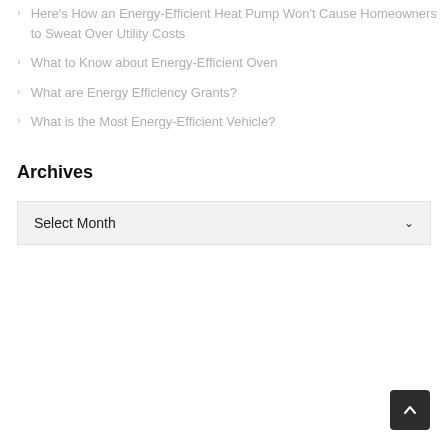Here's How an Energy-Efficient Heat Pump Won't Cause Homeowners to Sweat Over Utility Costs
What to Know about Energy-Efficient Oven
What are Energy Efficiency Grants?
What is the Most Energy-Efficient Vehicle?
Archives
Select Month